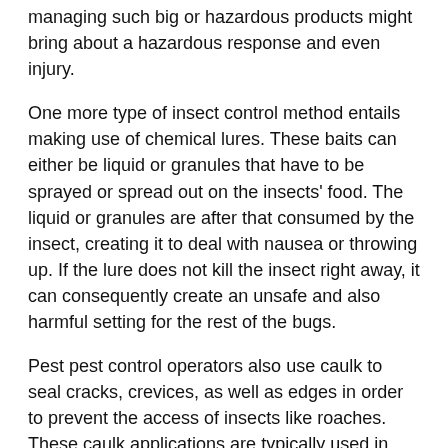managing such big or hazardous products might bring about a hazardous response and even injury.
One more type of insect control method entails making use of chemical lures. These baits can either be liquid or granules that have to be sprayed or spread out on the insects' food. The liquid or granules are after that consumed by the insect, creating it to deal with nausea or throwing up. If the lure does not kill the insect right away, it can consequently create an unsafe and also harmful setting for the rest of the bugs.
Pest pest control operators also use caulk to seal cracks, crevices, as well as edges in order to prevent the access of insects like roaches. These caulk applications are typically used in business buildings and also areas such as hotels, restaurants, and also hospitals. This is a prominent approach utilized to prevent roaches from getting in limited areas. It is effective in getting rid of Roaches yet can cause significant damages to wall surfaces, otherwise applied